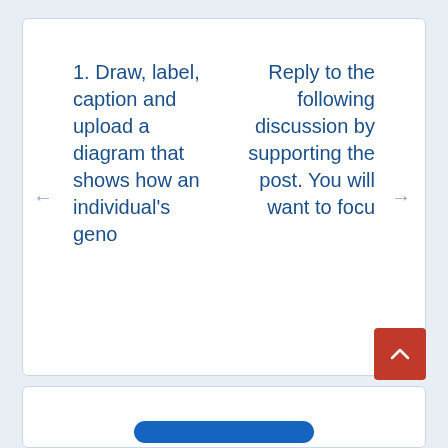1. Draw, label, caption and upload a diagram that shows how an individual's geno
Reply to the following discussion by supporting the post.  You will want to focu